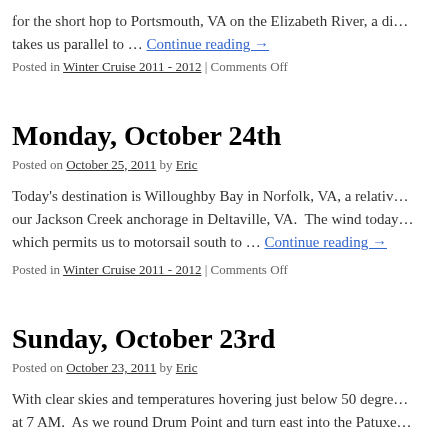for the short hop to Portsmouth, VA on the Elizabeth River, a di… takes us parallel to … Continue reading →
Posted in Winter Cruise 2011 - 2012 | Comments Off
Monday, October 24th
Posted on October 25, 2011 by Eric
Today's destination is Willoughby Bay in Norfolk, VA, a relativ… our Jackson Creek anchorage in Deltaville, VA. The wind today… which permits us to motorsail south to … Continue reading →
Posted in Winter Cruise 2011 - 2012 | Comments Off
Sunday, October 23rd
Posted on October 23, 2011 by Eric
With clear skies and temperatures hovering just below 50 degre… at 7 AM. As we round Drum Point and turn east into the Patuxe…